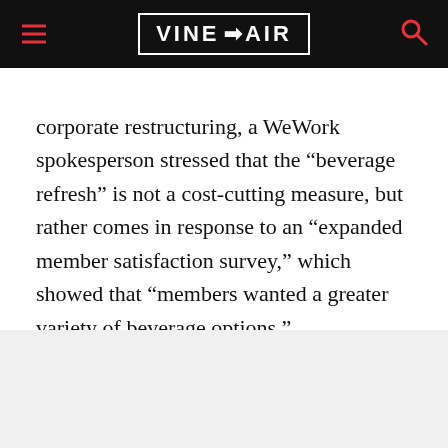VINEPAIR
corporate restructuring, a WeWork spokesperson stressed that the “beverage refresh” is not a cost-cutting measure, but rather comes in response to an “expanded member satisfaction survey,” which showed that “members wanted a greater variety of beverage options.”